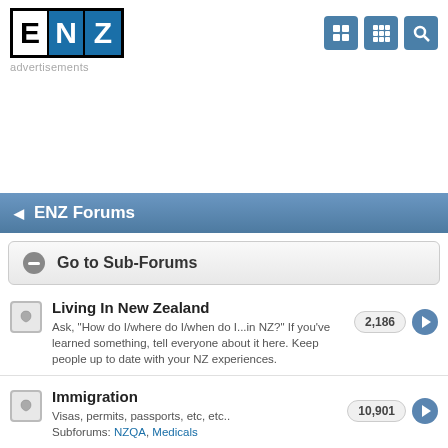[Figure (logo): ENZ logo with E in white box, N and Z in blue boxes]
advertisements
◄ ENZ Forums
Go to Sub-Forums
Living In New Zealand
Ask, "How do I/where do I/when do I...in NZ?" If you've learned something, tell everyone about it here. Keep people up to date with your NZ experiences.
Immigration
Visas, permits, passports, etc, etc.. Subforums: NZQA, Medicals